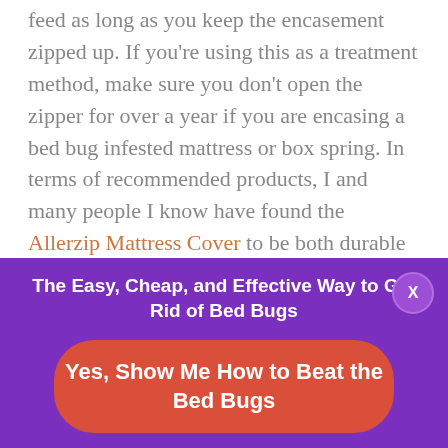feed as long as you keep the encasement zipped up. If you're using this as a treatment method, make sure you don't open the zipper for over a year if you are encasing a bed bug infested mattress or box spring. In terms of recommended products, I and many people I know have found the Allerzip Mattress Cover to be both durable and effective.
The Easy, Cheap, and Effective Way to Get Rid of Bed Bugs
Yes, Show Me How to Beat the Bed Bugs